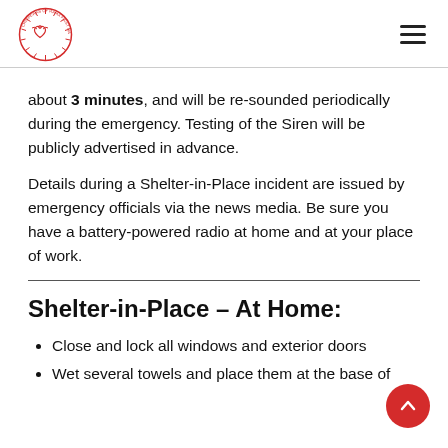Chippewas of Rama First Nation logo and navigation menu
about 3 minutes, and will be re-sounded periodically during the emergency. Testing of the Siren will be publicly advertised in advance.
Details during a Shelter-in-Place incident are issued by emergency officials via the news media. Be sure you have a battery-powered radio at home and at your place of work.
Shelter-in-Place – At Home:
Close and lock all windows and exterior doors
Wet several towels and place them at the base of